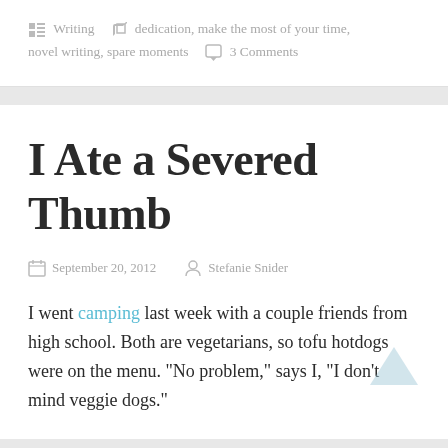Writing  dedication, make the most of your time, novel writing, spare moments  3 Comments
I Ate a Severed Thumb
September 20, 2012   Stefanie Snider
I went camping last week with a couple friends from high school. Both are vegetarians, so tofu hotdogs were on the menu. “No problem,” says I, “I don’t mind veggie dogs.”